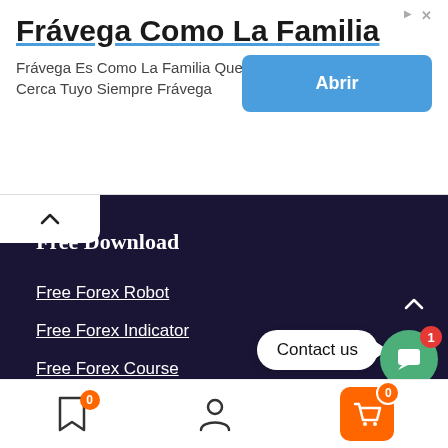[Figure (screenshot): Advertisement banner for Frávega with title, subtitle and blue Abrir button]
Free Download
Free Forex Robot
Free Forex Indicator
Free Forex Course
Tips
Strategy
Bitcoin
Trading